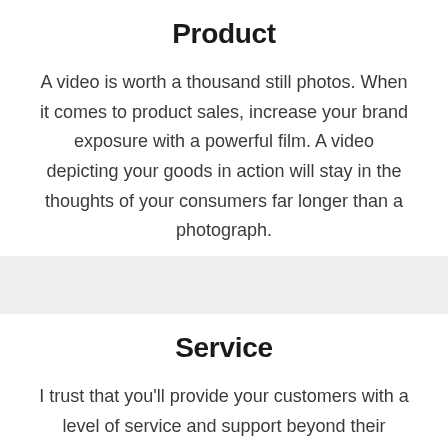Product
A video is worth a thousand still photos. When it comes to product sales, increase your brand exposure with a powerful film. A video depicting your goods in action will stay in the thoughts of your consumers far longer than a photograph.
Service
I trust that you'll provide your customers with a level of service and support beyond their expectations. How can you communicate that